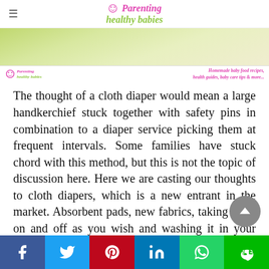Parenting healthy babies
[Figure (photo): Close-up photo of a cloth diaper or fabric material in light green/cream tones]
[Figure (logo): Parenting healthy babies logo with tagline: Homemade baby food recipes, health guides, baby care tips & more...]
The thought of a cloth diaper would mean a large handkerchief stuck together with safety pins in combination to a diaper service picking them at frequent intervals. Some families have stuck chord with this method, but this is not the topic of discussion here. Here we are casting our thoughts to cloth diapers, which is a new entrant in the market. Absorbent pads, new fabrics, taking them on and off as you wish and washing it in your own washing machine work out to be the major positives.
Facebook | Twitter | Pinterest | LinkedIn | WhatsApp | Line